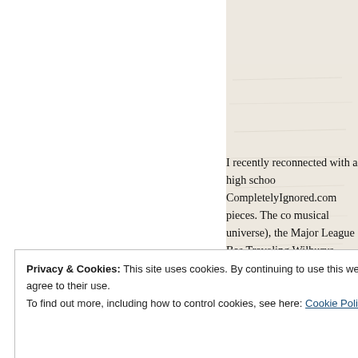[Figure (photo): Partial view of a photo showing a red corner at top-right and a beige/cream background with the hashtag text '#ignore' visible in large bold black font]
I recently reconnected with a high school CompletelyIgnored.com pieces. The co musical universe), the Major League Bas Traveling Wilburys, people's expectation used to be really popular amongst little k
Privacy & Cookies: This site uses cookies. By continuing to use this website, you agree to their use. To find out more, including how to control cookies, see here: Cookie Policy
Close and accept